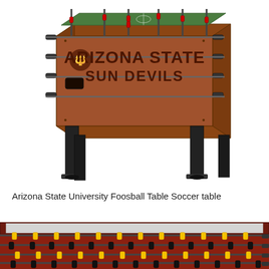[Figure (photo): Arizona State University branded foosball/table soccer game table with brown wood finish, 'ARIZONA STATE SUN DEVILS' text and logo on the side, black legs, red and green player figures on rods, viewed from an angle.]
Arizona State University Foosball Table Soccer table
[Figure (photo): Close-up side view of a foosball/table soccer table with dark reddish-brown wood finish, showing yellow and black player figures on multiple rods, viewed from slightly above.]